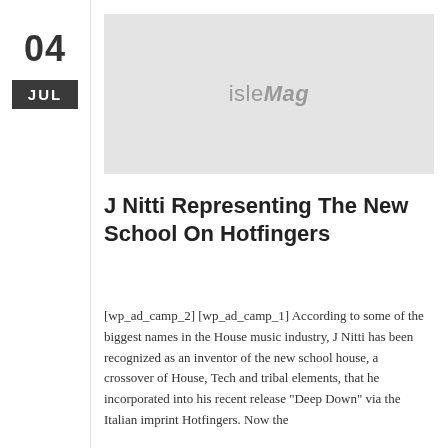04
JUL
[Figure (illustration): Gray placeholder image with isleMag logo text in the center]
J Nitti Representing The New School On Hotfingers
[wp_ad_camp_2] [wp_ad_camp_1] According to some of the biggest names in the House music industry, J Nitti has been recognized as an inventor of the new school house, a crossover of House, Tech and tribal elements, that he incorporated into his recent release “Deep Down” via the Italian imprint Hotfingers. Now the